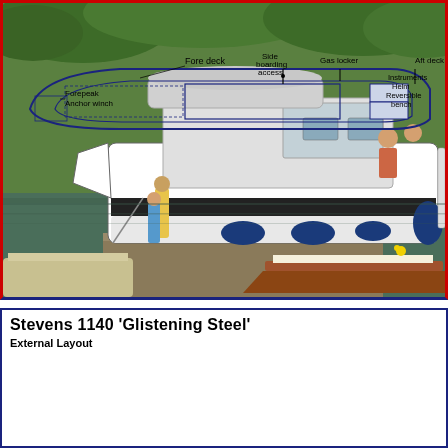[Figure (photo): Photograph of a white motor cruiser boat (Stevens 1140 'Glistening Steel') moored at a riverside dock surrounded by green trees. People visible on deck and dock. Other boats visible in foreground.]
Stevens 1140  'Glistening Steel'
External Layout
[Figure (engineering-diagram): Top-down external layout diagram of Stevens 1140 'Glistening Steel' showing: Fore deck, Forepeak, Anchor winch, Side boarding access, Gas locker, Aft deck, Instruments, Helm, Reversible bench. Blue line drawing on white background.]